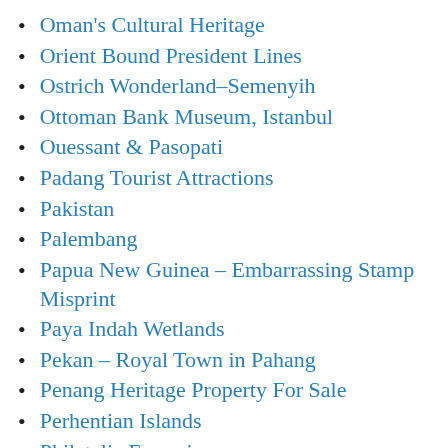Oman's Cultural Heritage
Orient Bound President Lines
Ostrich Wonderland–Semenyih
Ottoman Bank Museum, Istanbul
Ouessant & Pasopati
Padang Tourist Attractions
Pakistan
Palembang
Papua New Guinea – Embarrassing Stamp Misprint
Paya Indah Wetlands
Pekan – Royal Town in Pahang
Penang Heritage Property For Sale
Perhentian Islands
Philatelic Forgeries
Philippines